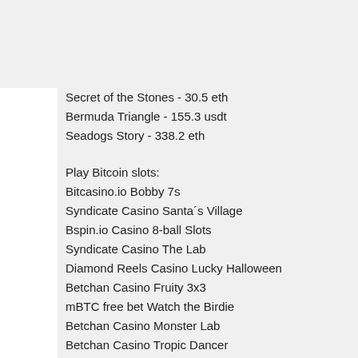Secret of the Stones - 30.5 eth
Bermuda Triangle - 155.3 usdt
Seadogs Story - 338.2 eth
Play Bitcoin slots:
Bitcasino.io Bobby 7s
Syndicate Casino Santa´s Village
Bspin.io Casino 8-ball Slots
Syndicate Casino The Lab
Diamond Reels Casino Lucky Halloween
Betchan Casino Fruity 3x3
mBTC free bet Watch the Birdie
Betchan Casino Monster Lab
Betchan Casino Tropic Dancer
CryptoWild Casino Glam Life
BitcoinCasino.us Heroes' Realm
mBit Casino White King
1xBit Casino The Asp of Cleopatra